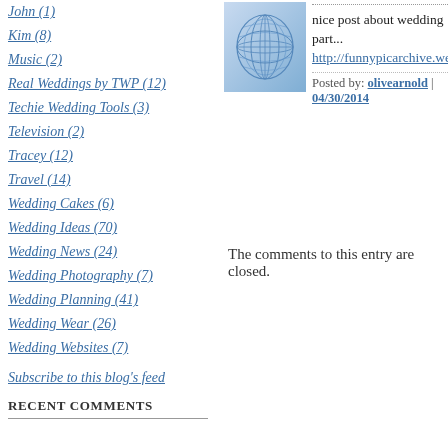John (1)
Kim (8)
Music (2)
Real Weddings by TWP (12)
Techie Wedding Tools (3)
Television (2)
Tracey (12)
Travel (14)
Wedding Cakes (6)
Wedding Ideas (70)
Wedding News (24)
Wedding Photography (7)
Wedding Planning (41)
Wedding Wear (26)
Wedding Websites (7)
Subscribe to this blog's feed
RECENT COMMENTS
[Figure (photo): Blue abstract/globe avatar image]
nice post about wedding part... http://funnypicarchive.weebly...
Posted by: olivearnold | 04/30/2014
The comments to this entry are closed.